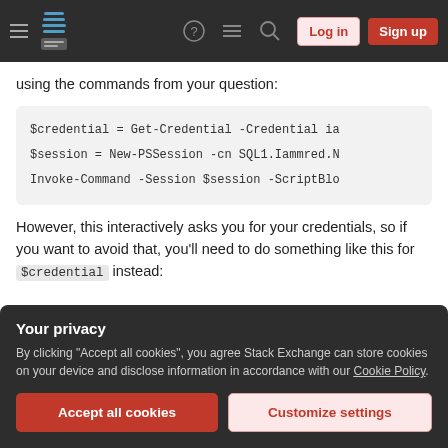Stack Exchange navigation bar with hamburger menu, logo, help, chat, search icons, Log in and Sign up buttons
using the commands from your question:
$credential = Get-Credential -Credential ia
$session = New-PSSession -cn SQL1.Iammred.N
Invoke-Command -Session $session -ScriptBlo
However, this interactively asks you for your credentials, so if you want to avoid that, you'll need to do something like this for $credential instead:
Your privacy
By clicking "Accept all cookies", you agree Stack Exchange can store cookies on your device and disclose information in accordance with our Cookie Policy.
Accept all cookies
Customize settings